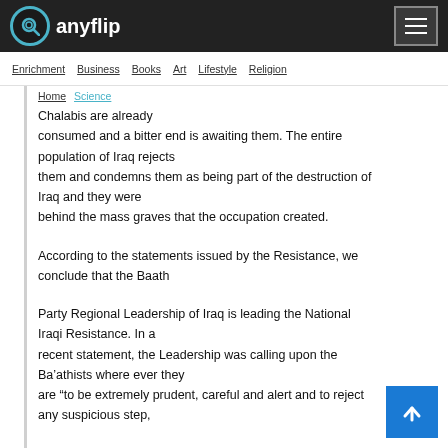anyflip
Enrichment  Business  Books  Art  Lifestyle  Religion  Home  Science
Chalabis are already consumed and a bitter end is awaiting them. The entire population of Iraq rejects them and condemns them as being part of the destruction of Iraq and they were behind the mass graves that the occupation created.
According to the statements issued by the Resistance, we conclude that the Baath
Party Regional Leadership of Iraq is leading the National Iraqi Resistance. In a recent statement, the Leadership was calling upon the Ba’athists where ever they are “to be extremely prudent, careful and alert and to reject any suspicious step,